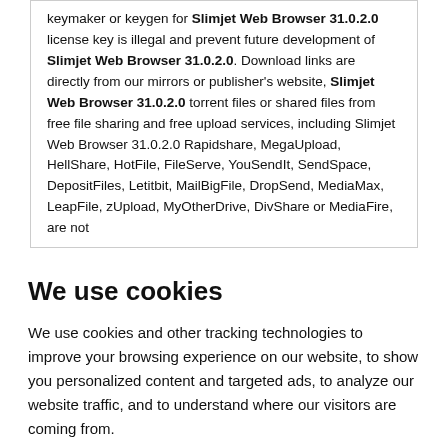keymaker or keygen for Slimjet Web Browser 31.0.2.0 license key is illegal and prevent future development of Slimjet Web Browser 31.0.2.0. Download links are directly from our mirrors or publisher's website, Slimjet Web Browser 31.0.2.0 torrent files or shared files from free file sharing and free upload services, including Slimjet Web Browser 31.0.2.0 Rapidshare, MegaUpload, HellShare, HotFile, FileServe, YouSendIt, SendSpace, DepositFiles, Letitbit, MailBigFile, DropSend, MediaMax, LeapFile, zUpload, MyOtherDrive, DivShare or MediaFire, are not
We use cookies
We use cookies and other tracking technologies to improve your browsing experience on our website, to show you personalized content and targeted ads, to analyze our website traffic, and to understand where our visitors are coming from.
I agree | Change my preferences